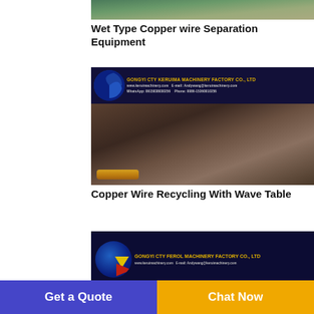[Figure (photo): Top portion of a product image showing wet type copper wire separation equipment - greenish/brownish material visible]
Wet Type Copper wire Separation Equipment
[Figure (photo): Video thumbnail with company logo overlay (Gongyi CTY Keruima Machinery Factory Co., Ltd) showing copper wire recycling process with wave table - close-up of copper granules and pipe on textured surface]
Copper Wire Recycling With Wave Table
[Figure (photo): Partial product image showing Gongyi CTY Ferol Machinery Factory Co., Ltd logo with website www.keruimachinery.com and email]
Get a Quote
Chat Now